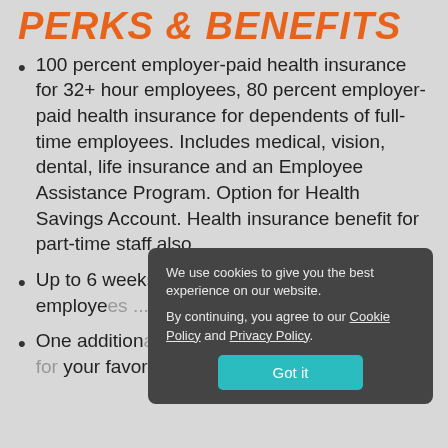PERKS & BENEFITS
100 percent employer-paid health insurance for 32+ hour employees, 80 percent employer-paid health insurance for dependents of full-time employees. Includes medical, vision, dental, life insurance and an Employee Assistance Program. Option for Health Savings Account. Health insurance benefit for part-time staff also.
Up to 6 weeks of paid time off for full-time employees ... accrues quickly.
One additional week of paid time to volunteer for your favorite causes. Every year.
We use cookies to give you the best experience on our website.

By continuing, you agree to our Cookie Policy and Privacy Policy.

Got it